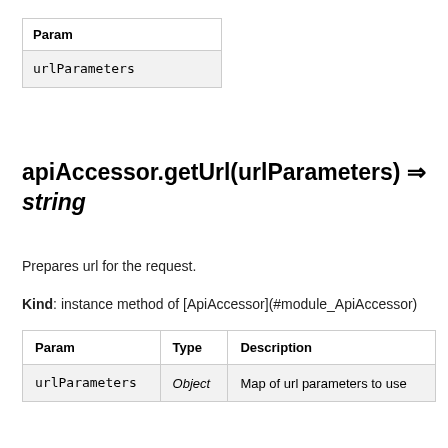| Param |
| --- |
| urlParameters |
apiAccessor.getUrl(urlParameters) ⇒ string
Prepares url for the request.
Kind: instance method of [ApiAccessor](#module_ApiAccessor)
| Param | Type | Description |
| --- | --- | --- |
| urlParameters | Object | Map of url parameters to use |
apiAccessor.formatBody(body) ⇒ Object
Prepares the request body.